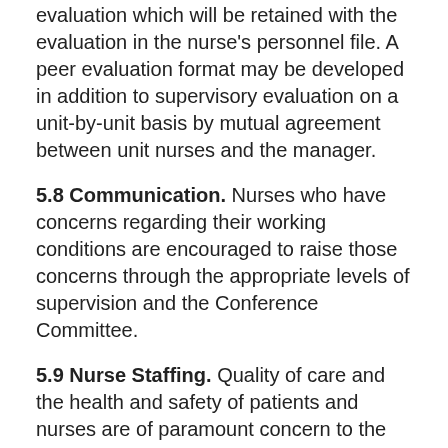evaluation which will be retained with the evaluation in the nurse's personnel file. A peer evaluation format may be developed in addition to supervisory evaluation on a unit-by-unit basis by mutual agreement between unit nurses and the manager.
5.8 Communication. Nurses who have concerns regarding their working conditions are encouraged to raise those concerns through the appropriate levels of supervision and the Conference Committee.
5.9 Nurse Staffing. Quality of care and the health and safety of patients and nurses are of paramount concern to the Hospital and the nursing staff who provide care for our patients. Accordingly, the Employer shall comply with applicable staffing laws and regulations. The hospital and staff RNs shall produce an annual staffing plan in accordance with law, RCW 70.41.420.